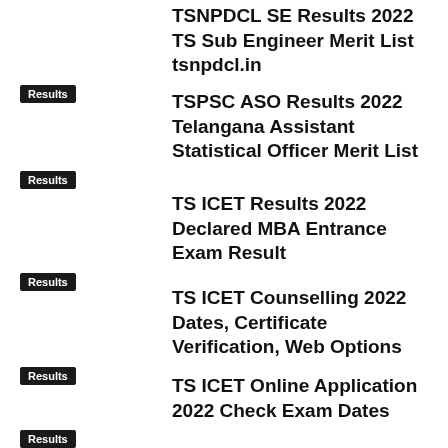TSNPDCL SE Results 2022 TS Sub Engineer Merit List tsnpdcl.in
Results
TSPSC ASO Results 2022 Telangana Assistant Statistical Officer Merit List
Results
TS ICET Results 2022 Declared MBA Entrance Exam Result
Results
TS ICET Counselling 2022 Dates, Certificate Verification, Web Options
Results
TS ICET Online Application 2022 Check Exam Dates
Results